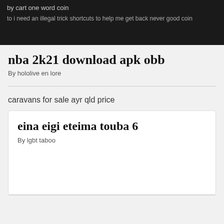by cart one word coin
to i need an illegal trick shortcuts to help me get back never good coin
nba 2k21 download apk obb
By hololive en lore
caravans for sale ayr qld price
eina eigi eteima touba 6
By lgbt taboo